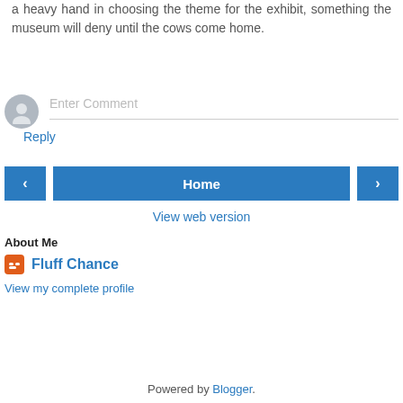a heavy hand in choosing the theme for the exhibit, something the museum will deny until the cows come home.
Reply
[Figure (illustration): User avatar circle with person silhouette icon and Enter Comment input field placeholder]
[Figure (infographic): Navigation buttons: left arrow button, Home button, right arrow button]
View web version
About Me
Fluff Chance
View my complete profile
Powered by Blogger.